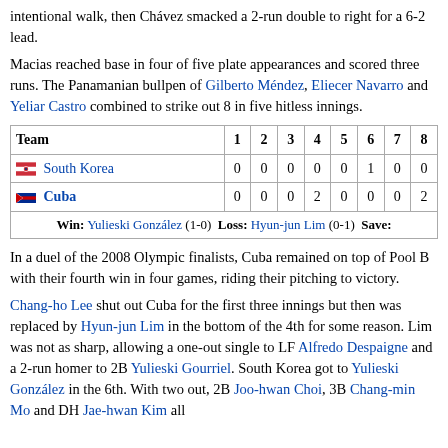intentional walk, then Chávez smacked a 2-run double to right for a 6-2 lead.
Macias reached base in four of five plate appearances and scored three runs. The Panamanian bullpen of Gilberto Méndez, Eliecer Navarro and Yeliar Castro combined to strike out 8 in five hitless innings.
| Team | 1 | 2 | 3 | 4 | 5 | 6 | 7 | 8 |
| --- | --- | --- | --- | --- | --- | --- | --- | --- |
| 🇰🇷 South Korea | 0 | 0 | 0 | 0 | 0 | 1 | 0 | 0 |
| 🇨🇺 Cuba | 0 | 0 | 0 | 2 | 0 | 0 | 0 | 2 |
| Win: Yulieski González (1-0) Loss: Hyun-jun Lim (0-1) Save: |  |  |  |  |  |  |  |  |
In a duel of the 2008 Olympic finalists, Cuba remained on top of Pool B with their fourth win in four games, riding their pitching to victory.
Chang-ho Lee shut out Cuba for the first three innings but then was replaced by Hyun-jun Lim in the bottom of the 4th for some reason. Lim was not as sharp, allowing a one-out single to LF Alfredo Despaigne and a 2-run homer to 2B Yulieski Gourriel. South Korea got to Yulieski González in the 6th. With two out, 2B Joo-hwan Choi, 3B Chang-min Mo and DH Jae-hwan Kim all